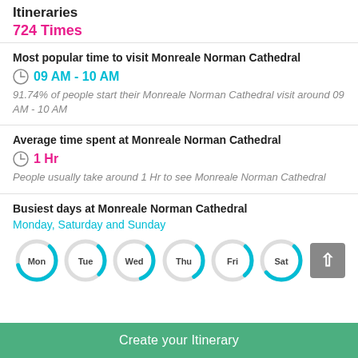Itineraries
724 Times
Most popular time to visit Monreale Norman Cathedral
09 AM - 10 AM
91.74% of people start their Monreale Norman Cathedral visit around 09 AM - 10 AM
Average time spent at Monreale Norman Cathedral
1 Hr
People usually take around 1 Hr to see Monreale Norman Cathedral
Busiest days at Monreale Norman Cathedral
Monday, Saturday and Sunday
[Figure (donut-chart): Row of 6 partial donut/ring charts for Mon, Tue, Wed, Thu, Fri, Sat showing relative busyness, each labeled with day abbreviation]
Create your Itinerary